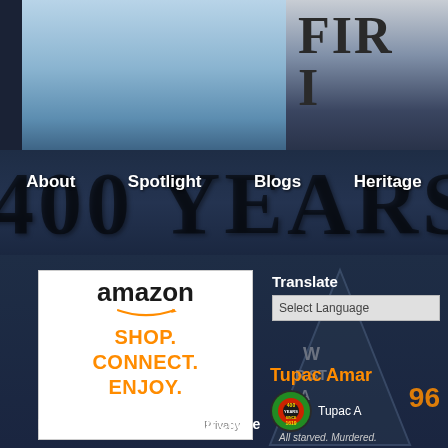[Figure (photo): Top photo strip with sky/blue background on left and dark sign lettering (FIR, I) on right]
[Figure (screenshot): Navigation bar overlay on '400 YEARS' background text with menu items: About, Spotlight, Blogs, Heritage]
[Figure (screenshot): Amazon advertisement: amazon logo, smile graphic, SHOP. CONNECT. ENJOY. tagline, Privacy label]
Translate
Select Language
Tupac Amar
Tupac A
All starved. Murdered.
Podcast - Not Your African Cliche